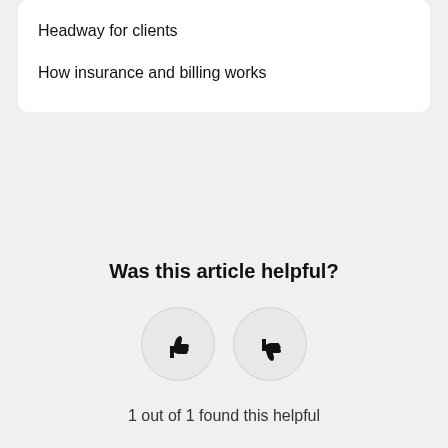Headway for clients
How insurance and billing works
Was this article helpful?
[Figure (illustration): Two circular buttons: thumbs up and thumbs down icons for article feedback]
1 out of 1 found this helpful